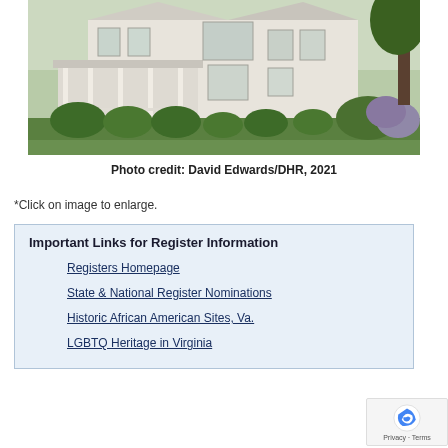[Figure (photo): Exterior photo of a large white Victorian-style house with covered front porch, multiple stories, and surrounding greenery and flowering shrubs.]
Photo credit: David Edwards/DHR, 2021
*Click on image to enlarge.
Important Links for Register Information
Registers Homepage
State & National Register Nominations
Historic African American Sites, Va.
LGBTQ Heritage in Virginia